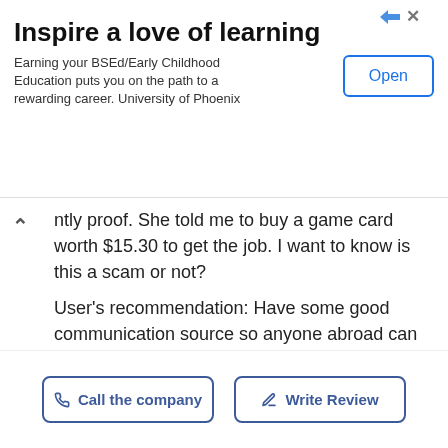[Figure (screenshot): Advertisement banner for University of Phoenix BSEd/Early Childhood Education with 'Open' button]
Inspire a love of learning
Earning your BSEd/Early Childhood Education puts you on the path to a rewarding career. University of Phoenix
ntly proof. She told me to buy a game card worth $15.30 to get the job. I want to know is this a scam or not?
User's recommendation: Have some good communication source so anyone abroad can contact the firm.
Comment
0   0   Report
Call the company   Write Review